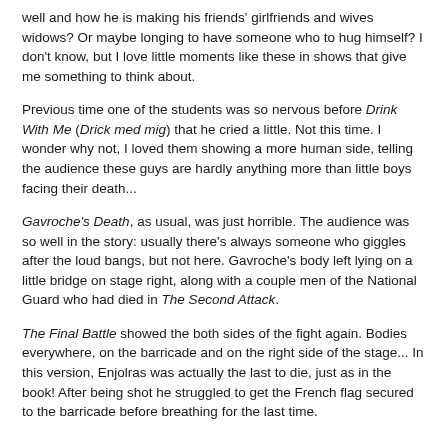well and how he is making his friends' girlfriends and wives widows? Or maybe longing to have someone who to hug himself? I don't know, but I love little moments like these in shows that give me something to think about.
Previous time one of the students was so nervous before Drink With Me (Drick med mig) that he cried a little. Not this time. I wonder why not, I loved them showing a more human side, telling the audience these guys are hardly anything more than little boys facing their death...
Gavroche's Death, as usual, was just horrible. The audience was so well in the story: usually there's always someone who giggles after the loud bangs, but not here. Gavroche's body left lying on a little bridge on stage right, along with a couple men of the National Guard who had died in The Second Attack.
The Final Battle showed the both sides of the fight again. Bodies everywhere, on the barricade and on the right side of the stage... In this version, Enjolras was actually the last to die, just as in the book! After being shot he struggled to get the French flag secured to the barricade before breathing for the last time.